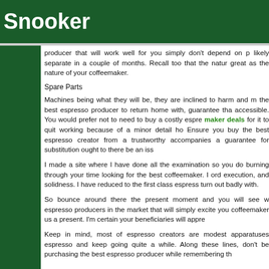Snooker
producer that will work well for you simply don't depend on p likely separate in a couple of months. Recall too that the natur great as the nature of your coffeemaker.
Spare Parts
Machines being what they will be, they are inclined to harm and m the best espresso producer to return home with, guarantee tha accessible. You would prefer not to need to buy a costly espre maker deals for it to quit working because of a minor detail ho Ensure you buy the best espresso creator from a trustworthy accompanies a guarantee for substitution ought to there be an iss
I made a site where I have done all the examination so you do burning through your time looking for the best coffeemaker. I ord execution, and solidness. I have reduced to the first class espress turn out badly with.
So bounce around there the present moment and you will see w espresso producers in the market that will simply excite you coffeemaker us a present. I'm certain your beneficiaries will appre
Keep in mind, most of espresso creators are modest apparatuses espresso and keep going quite a while. Along these lines, don't be purchasing the best espresso producer while remembering th